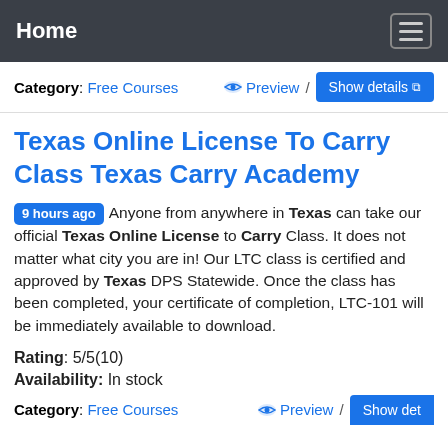Home
Category: Free Courses   Preview /  Show details
Texas Online License To Carry Class Texas Carry Academy
9 hours ago  Anyone from anywhere in Texas can take our official Texas Online License to Carry Class. It does not matter what city you are in! Our LTC class is certified and approved by Texas DPS Statewide. Once the class has been completed, your certificate of completion, LTC-101 will be immediately available to download.
Rating: 5/5(10)
Availability: In stock
Category: Free Courses   Preview /  Show det